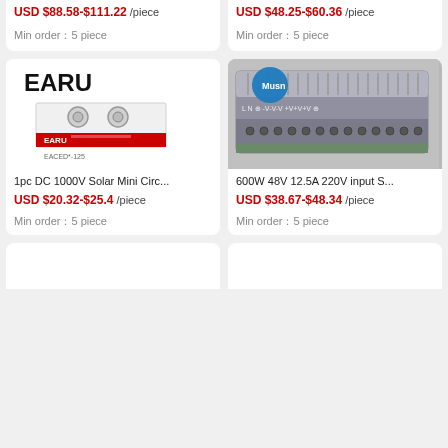USD $88.58-$111.22 /piece
USD $48.25-$60.36 /piece
Min order：5 piece
Min order：5 piece
[Figure (photo): EARU brand DC circuit breaker product photo with red label bar]
[Figure (photo): Musn brand 600W 48V 12.5A power supply unit, metallic gray box with terminal block]
1pc DC 1000V Solar Mini Circ...
600W 48V 12.5A 220V input S...
USD $20.32-$25.4 /piece
USD $38.67-$48.34 /piece
Min order：5 piece
Min order：5 piece